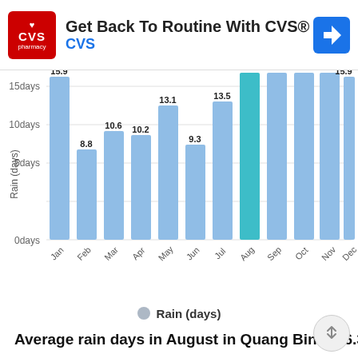[Figure (screenshot): CVS Pharmacy advertisement banner with logo, text 'Get Back To Routine With CVS®', brand name 'CVS', and navigation icon]
[Figure (bar-chart): Rain (days)]
Rain (days)
Average rain days in August in Quang Binh: 16.3 da